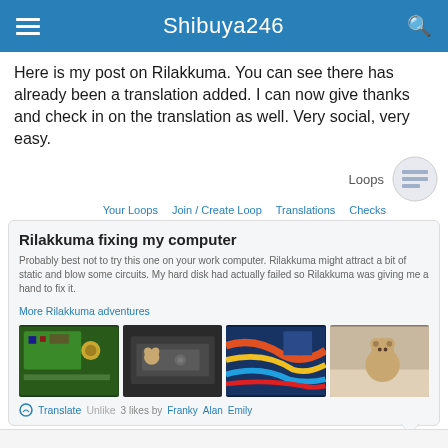Shibuya246
Here is my post on Rilakkuma. You can see there has already been a translation added. I can now give thanks and check in on the translation as well. Very social, very easy.
[Figure (screenshot): Loops navigation UI showing Your Loops, Join/Create Loop, Translations, Checks links with Loops icon]
[Figure (screenshot): Blog post card titled 'Rilakkuma fixing my computer' with text, More Rilakkuma adventures link, four photos of a stuffed bear near computer parts, Translate/Unlike/likes by Franky Alan Emily actions]
Post new comment     Alan  2011-07-01 23:46 (Edit)